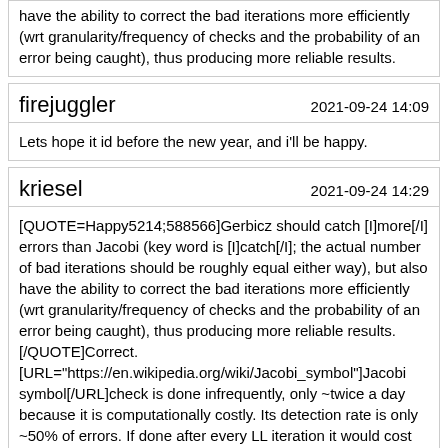have the ability to correct the bad iterations more efficiently (wrt granularity/frequency of checks and the probability of an error being caught), thus producing more reliable results.
firejuggler
2021-09-24 14:09
Lets hope it id before the new year, and i'll be happy.
kriesel
2021-09-24 14:29
[QUOTE=Happy5214;588566]Gerbicz should catch [I]more[/I] errors than Jacobi (key word is [I]catch[/I]; the actual number of bad iterations should be roughly equal either way), but also have the ability to correct the bad iterations more efficiently (wrt granularity/frequency of checks and the probability of an error being caught), thus producing more reliable results.[/QUOTE]Correct.
[URL="https://en.wikipedia.org/wiki/Jacobi_symbol"]Jacobi symbol[/URL]check is done infrequently, only ~twice a day because it is computationally costly. Its detection rate is only ~50% of errors. If done after every LL iteration it would cost more than it might save, and still only detect ~75% of errors. For Mersennes it yields +1 or -1 IIRC; there are only 3 possible values in general, 1, -1, 0, so an error going undetected is quite probable.
[URL="https://mersenneforum.org/showpost.php?p=465033&postcount=30"]This post[/URL] describing the Jacobi symbol check led to some quick implementation, and consideration of